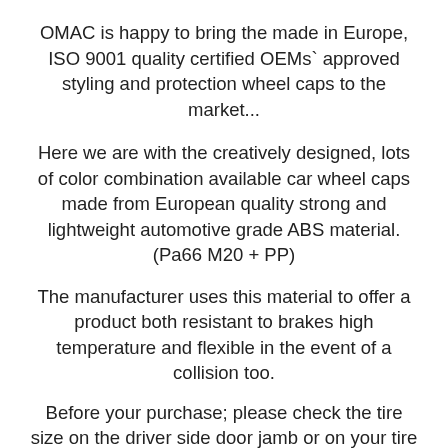OMAC is happy to bring the made in Europe, ISO 9001 quality certified OEMs` approved styling and protection wheel caps to the market...
Here we are with the creatively designed, lots of color combination available car wheel caps made from European quality strong and lightweight automotive grade ABS material. (Pa66 M20 + PP)
The manufacturer uses this material to offer a product both resistant to brakes high temperature and flexible in the event of a collision too.
Before your purchase; please check the tire size on the driver side door jamb or on your tire itself.
The products are guaranteed to fit perfectly...